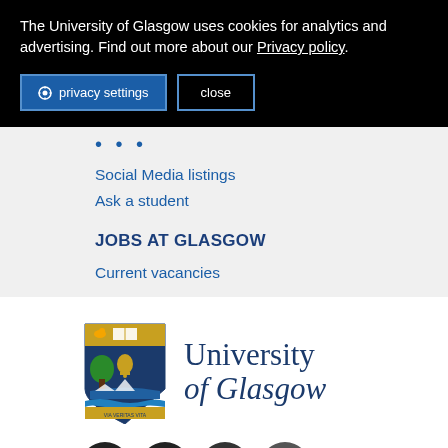The University of Glasgow uses cookies for analytics and advertising. Find out more about our Privacy policy.
privacy settings
close
Social Media listings
Ask a student
JOBS AT GLASGOW
Current vacancies
[Figure (logo): University of Glasgow crest/shield logo alongside text 'University of Glasgow' in serif font]
[Figure (infographic): Social media icon circles: Facebook, Twitter, camera/Instagram, YouTube]